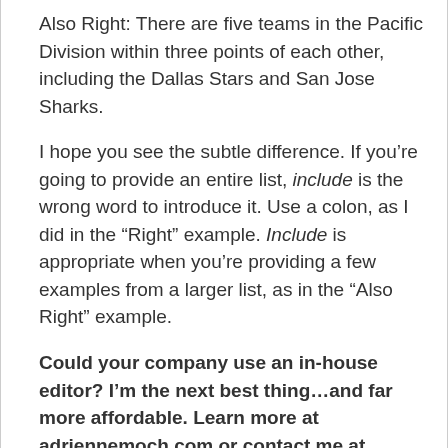Also Right: There are five teams in the Pacific Division within three points of each other, including the Dallas Stars and San Jose Sharks.
I hope you see the subtle difference. If you’re going to provide an entire list, include is the wrong word to introduce it. Use a colon, as I did in the “Right” example. Include is appropriate when you’re providing a few examples from a larger list, as in the “Also Right” example.
Could your company use an in-house editor? I’m the next best thing…and far more affordable. Learn more at adriennemoch.com or contact me at adrienne@adriennemoch.com or (619)